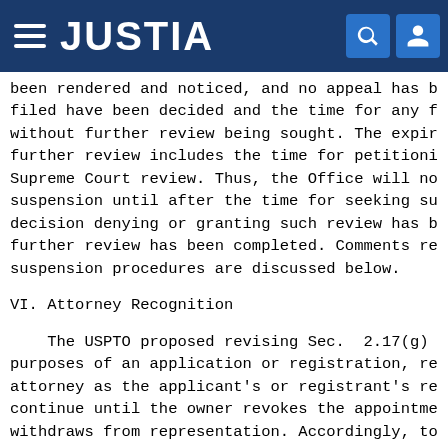JUSTIA
been rendered and noticed, and no appeal has been filed have been decided and the time for any further without further review being sought. The expiration of further review includes the time for petitioning for Supreme Court review. Thus, the Office will not begin suspension until after the time for seeking such review or a decision denying or granting such review has been made or further review has been completed. Comments regarding the suspension procedures are discussed below.
VI. Attorney Recognition
The USPTO proposed revising Sec. 2.17(g) for purposes of an application or registration, recognizing an attorney as the applicant's or registrant's representative continue until the owner revokes the appointment or the attorney withdraws from representation. Accordingly, to